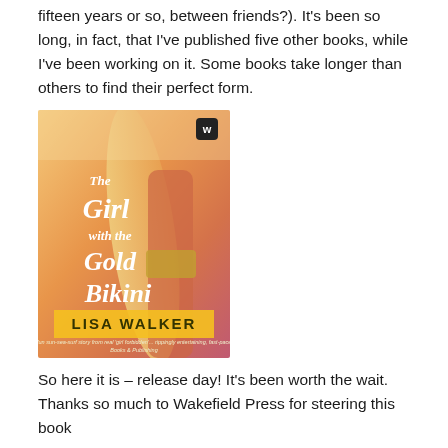fifteen years or so, between friends?). It's been so long, in fact, that I've published five other books, while I've been working on it. Some books take longer than others to find their perfect form.
[Figure (photo): Book cover of 'The Girl with the Gold Bikini' by Lisa Walker, published by Wakefield Press. The cover shows a woman in a gold bikini holding a surfboard on a beach, with warm orange and pink tones. The title is written in white script font.]
So here it is – release day! It's been worth the wait. Thanks so much to Wakefield Press for steering this book